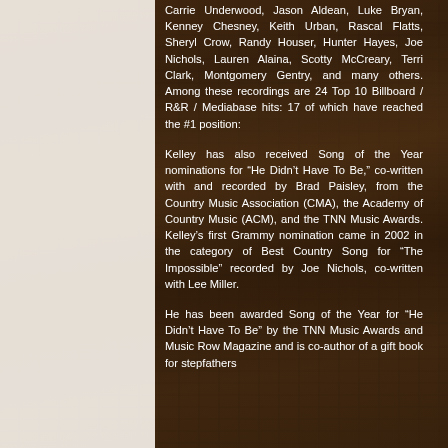Carrie Underwood, Jason Aldean, Luke Bryan, Kenney Chesney, Keith Urban, Rascal Flatts, Sheryl Crow, Randy Houser, Hunter Hayes, Joe Nichols, Lauren Alaina, Scotty McCreary, Terri Clark, Montgomery Gentry, and many others. Among these recordings are 24 Top 10 Billboard / R&R / Mediabase hits: 17 of which have reached the #1 position:
Kelley has also received Song of the Year nominations for "He Didn't Have To Be," co-written with and recorded by Brad Paisley, from the Country Music Association (CMA), the Academy of Country Music (ACM), and the TNN Music Awards. Kelley's first Grammy nomination came in 2002 in the category of Best Country Song for "The Impossible" recorded by Joe Nichols, co-written with Lee Miller.
He has been awarded Song of the Year for "He Didn't Have To Be" by the TNN Music Awards and Music Row Magazine and is co-author of a gift book for stepfathers